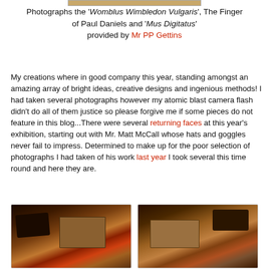Photographs the 'Womblus Wimbledon Vulgaris', The Finger of Paul Daniels and 'Mus Digitatus' provided by Mr PP Gettins
My creations where in good company this year, standing amongst an amazing array of bright ideas, creative designs and ingenious methods! I had taken several photographs however my atomic blast camera flash didn't do all of them justice so please forgive me if some pieces do not feature in this blog...There were several returning faces at this year's exhibition, starting out with Mr. Matt McCall whose hats and goggles never fail to impress. Determined to make up for the poor selection of photographs I had taken of his work last year I took several this time round and here they are.
[Figure (photo): Photo of hats and accessories on a colourful patterned cloth, left image]
[Figure (photo): Photo of hats and accessories on a colourful patterned cloth, right image]